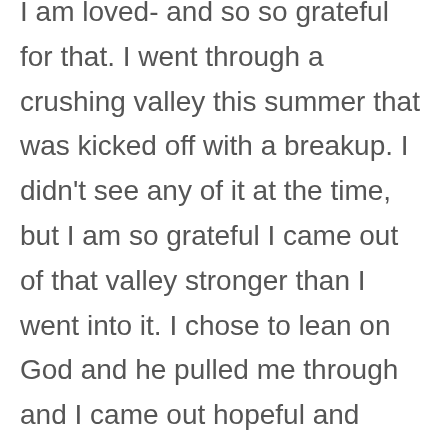I am loved- and so so grateful for that. I went through a crushing valley this summer that was kicked off with a breakup. I didn't see any of it at the time, but I am so grateful I came out of that valley stronger than I went into it. I chose to lean on God and he pulled me through and I came out hopeful and encouraged....and in a stronger faith with God! It was an awful time, but I am so grateful it happened because it brought me back to God. I am loved!